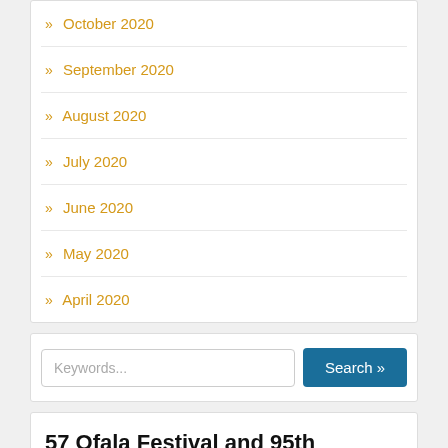October 2020
September 2020
August 2020
July 2020
June 2020
May 2020
April 2020
Keywords...
Search »
57 Ofala Festival and 95th Birthday of HRH Igwe Orizu III,